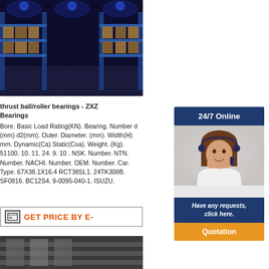[Figure (photo): Warehouse interior with blue metal shelving racks stocked with boxes, illuminated with blue-tinted lighting]
thrust ball/roller bearings - ZXZ Bearings
Bore. Basic Load Rating(KN). Bearing. Number d (mm) d2(mm). Outer. Diameter. (mm). Width(H) mm. Dynamic(Ca) Static(Coa). Weight. (Kg). 51100. 10. 11. 24. 9. 10 . NSK. Number. NTN. Number. NACHI. Number. OEM. Number. Car. Type. 67X38.1X16.4 RCT38SL1. 24TK308B. SF0816. BC12S4. 9-0095-040-1. ISUZU.
GET PRICE BY E-
[Figure (photo): Another warehouse/industrial image at the bottom]
24/7 Online
[Figure (photo): Customer service agent woman wearing a headset, smiling]
Have any requests, click here.
Quotation